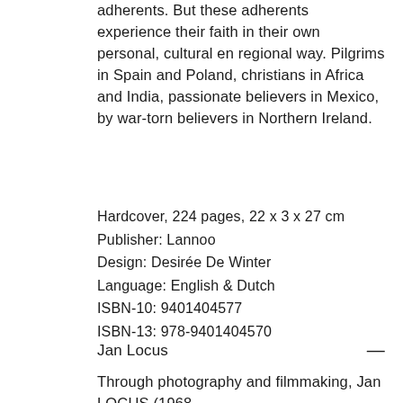adherents. But these adherents experience their faith in their own personal, cultural en regional way. Pilgrims in Spain and Poland, christians in Africa and India, passionate believers in Mexico, by war-torn believers in Northern Ireland.
Hardcover, 224 pages, 22 x 3 x 27 cm
Publisher: Lannoo
Design: Desirée De Winter
Language: English & Dutch
ISBN-10: 9401404577
ISBN-13: 978-9401404570
Jan Locus —
Through photography and filmmaking, Jan LOCUS (1968